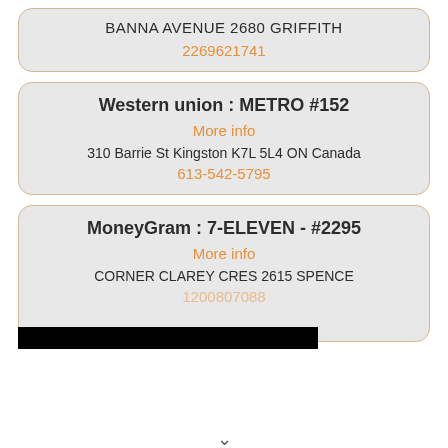BANNA AVENUE 2680 GRIFFITH
2269621741
Western union : METRO #152
More info
310 Barrie St Kingston K7L 5L4 ON Canada
613-542-5795
MoneyGram : 7-ELEVEN - #2295
More info
CORNER CLAREY CRES 2615 SPENCE
1200807088